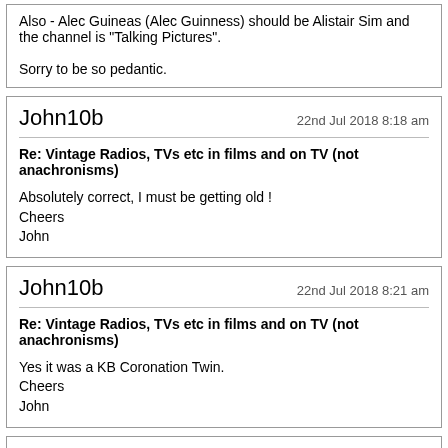Also - Alec Guineas (Alec Guinness) should be Alistair Sim and the channel is "Talking Pictures".

Sorry to be so pedantic.
John10b
22nd Jul 2018 8:18 am
Re: Vintage Radios, TVs etc in films and on TV (not anachronisms)
Absolutely correct, I must be getting old !
Cheers
John
John10b
22nd Jul 2018 8:21 am
Re: Vintage Radios, TVs etc in films and on TV (not anachronisms)
Yes it was a KB Coronation Twin.
Cheers
John
cheerfulcharlie
12th Sep 2018 7:47 am